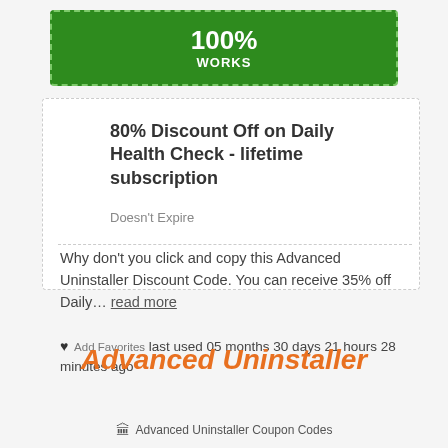100% WORKS
80% Discount Off on Daily Health Check - lifetime subscription
Doesn't Expire
Why don't you click and copy this Advanced Uninstaller Discount Code. You can receive 35% off Daily… read more
♥ Add Favorites last used 05 months 30 days 21 hours 28 minutes ago
Advanced Uninstaller
Advanced Uninstaller Coupon Codes